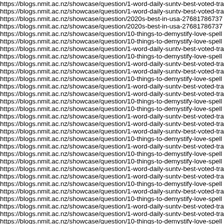https://blogs.nmit.ac.nz/showcase/question/1-word-daily-suntv-best-voted-tra
https://blogs.nmit.ac.nz/showcase/question/1-word-daily-suntv-best-voted-tra
https://blogs.nmit.ac.nz/showcase/question/2020s-best-in-usa-27681786737
https://blogs.nmit.ac.nz/showcase/question/2020s-best-in-usa-27681786737
https://blogs.nmit.ac.nz/showcase/question/10-things-to-demystify-love-spell
https://blogs.nmit.ac.nz/showcase/question/10-things-to-demystify-love-spell
https://blogs.nmit.ac.nz/showcase/question/1-word-daily-suntv-best-voted-tra
https://blogs.nmit.ac.nz/showcase/question/10-things-to-demystify-love-spell
https://blogs.nmit.ac.nz/showcase/question/1-word-daily-suntv-best-voted-tra
https://blogs.nmit.ac.nz/showcase/question/1-word-daily-suntv-best-voted-tra
https://blogs.nmit.ac.nz/showcase/question/10-things-to-demystify-love-spell
https://blogs.nmit.ac.nz/showcase/question/1-word-daily-suntv-best-voted-tra
https://blogs.nmit.ac.nz/showcase/question/1-word-daily-suntv-best-voted-tra
https://blogs.nmit.ac.nz/showcase/question/10-things-to-demystify-love-spell
https://blogs.nmit.ac.nz/showcase/question/10-things-to-demystify-love-spell
https://blogs.nmit.ac.nz/showcase/question/1-word-daily-suntv-best-voted-tra
https://blogs.nmit.ac.nz/showcase/question/1-word-daily-suntv-best-voted-tra
https://blogs.nmit.ac.nz/showcase/question/1-word-daily-suntv-best-voted-tra
https://blogs.nmit.ac.nz/showcase/question/10-things-to-demystify-love-spell
https://blogs.nmit.ac.nz/showcase/question/1-word-daily-suntv-best-voted-tra
https://blogs.nmit.ac.nz/showcase/question/10-things-to-demystify-love-spell
https://blogs.nmit.ac.nz/showcase/question/10-things-to-demystify-love-spell
https://blogs.nmit.ac.nz/showcase/question/1-word-daily-suntv-best-voted-tra
https://blogs.nmit.ac.nz/showcase/question/1-word-daily-suntv-best-voted-tra
https://blogs.nmit.ac.nz/showcase/question/10-things-to-demystify-love-spell
https://blogs.nmit.ac.nz/showcase/question/1-word-daily-suntv-best-voted-tra
https://blogs.nmit.ac.nz/showcase/question/10-things-to-demystify-love-spell
https://blogs.nmit.ac.nz/showcase/question/1-word-daily-suntv-best-voted-tra
https://blogs.nmit.ac.nz/showcase/question/1-word-daily-suntv-best-voted-tra
https://blogs.nmit.ac.nz/showcase/question/10-things-to-demystify-love-spell